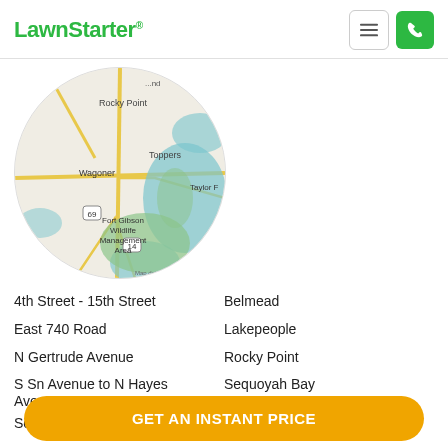LawnStarter
[Figure (map): Circular map showing Wagoner area, Oklahoma, including Rocky Point, Toppers, Fort Gibson Wildlife Management Area, Taylor Ferry, and surrounding roads and water bodies. Map data ©2019.]
4th Street - 15th Street
Belmead
East 740 Road
Lakepeople
N Gertrude Avenue
Rocky Point
S Sn Avenue to N Hayes Avenue
Sequoyah Bay
South Bettes
Taylor Ferry
Toppers
GET AN INSTANT PRICE